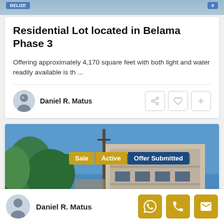[Figure (photo): Top portion of a map or satellite image, partially cropped]
Residential Lot located in Belama Phase 3
Offering approximately 4,170 square feet with both light and water readily available is th ...
Daniel R. Matus
[Figure (photo): Exterior photo of a two-story residential house with trees and a utility pole in front. Tags show: Sale, Active, Offer Submitted]
Daniel R. Matus